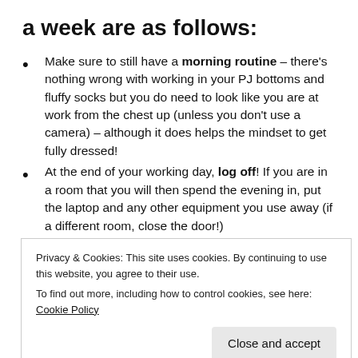a week are as follows:
Make sure to still have a morning routine – there's nothing wrong with working in your PJ bottoms and fluffy socks but you do need to look like you are at work from the chest up (unless you don't use a camera) – although it does helps the mindset to get fully dressed!
At the end of your working day, log off! If you are in a room that you will then spend the evening in, put the laptop and any other equipment you use away (if a different room, close the door!)
Privacy & Cookies: This site uses cookies. By continuing to use this website, you agree to their use.
To find out more, including how to control cookies, see here: Cookie Policy
Close and accept
even if its only a short lunch break or to make a cof...